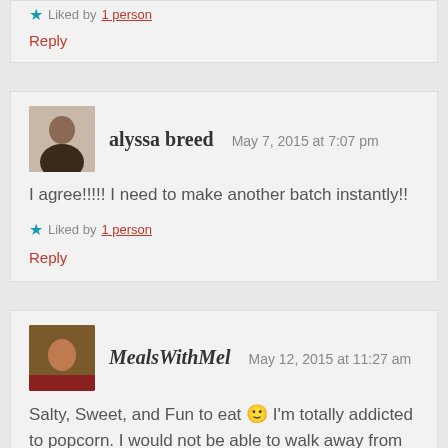Liked by 1 person
Reply
alyssa breed — May 7, 2015 at 7:07 pm
I agree!!!!! I need to make another batch instantly!!
Liked by 1 person
Reply
MealsWithMel — May 12, 2015 at 11:27 am
Salty, Sweet, and Fun to eat 🙂 I'm totally addicted to popcorn. I would not be able to walk away from this until I ate it all.